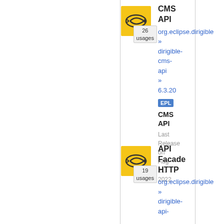[Figure (logo): Yellow CMS API icon with fish/arrow logo, 26 usages badge]
CMS API
org.eclipse.dirigible » dirigible-cms-api » 6.3.20
EPL
CMS API
Last Release on Aug 21, 2022
[Figure (logo): Yellow API Facade HTTP icon with fish/arrow logo, 19 usages badge]
API Facade HTTP
org.eclipse.dirigible » dirigible-api-